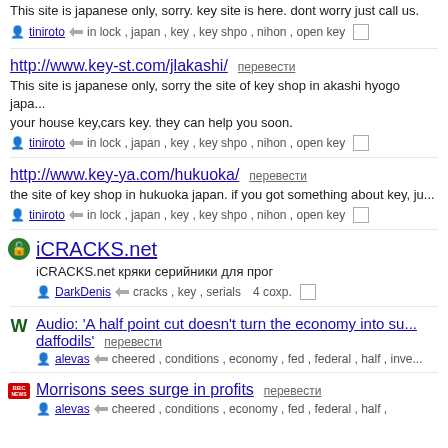This site is japanese only, sorry. key site is here. dont worry just call us.
tiniroto  in lock, japan, key, key shpo, nihon, open key
http://www.key-st.com/jlakashi/ перевести
This site is japanese only, sorry the site of key shop in akashi hyogo japa... your house key,cars key. they can help you soon.
tiniroto  in lock, japan, key, key shpo, nihon, open key
http://www.key-ya.com/hukuoka/ перевести
the site of key shop in hukuoka japan. if you got something about key, ju...
tiniroto  in lock, japan, key, key shpo, nihon, open key
iCRACKS.net
iCRACKS.net кряки серийники для прог
DarkDenis  cracks, key, serials  4 сохр.
Audio: 'A half point cut doesn't turn the economy into su... daffodils' перевести
alevas  cheered, conditions, economy, fed, federal, half, inve...
Morrisons sees surge in profits перевести
alevas  cheered, conditions, economy, fed, federal, half,